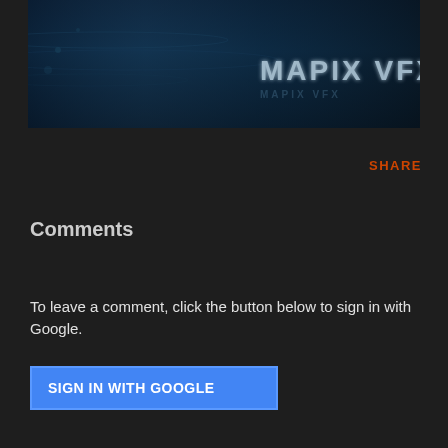[Figure (screenshot): Dark blue cinematic banner image with 'MAPIX VFX' text in metallic/glowing letters on the right side, dark water/underwater background texture]
SHARE
Comments
To leave a comment, click the button below to sign in with Google.
SIGN IN WITH GOOGLE